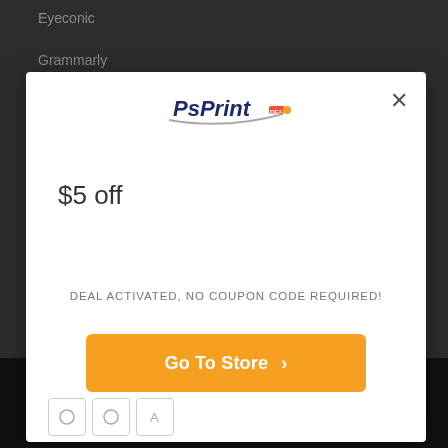Eyeconic
Grammarly
[Figure (screenshot): PsPrint logo — stylized text 'PsPrint' with a swoosh underline and small red/orange badge]
$5 off
DEAL ACTIVATED, NO COUPON CODE REQUIRED!
Go To Store ›